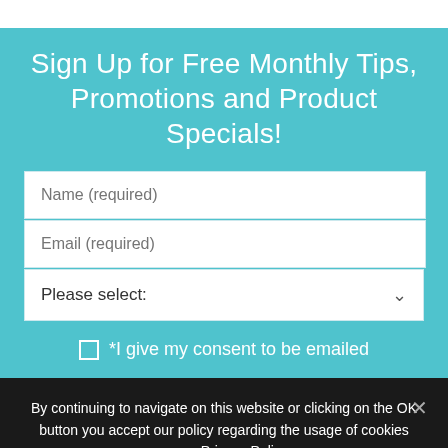Sign Up for Free Monthly Tips, Promotions and Product Specials!
Name (required)
Email (required)
Please select:
*I give my consent to be emailed
By continuing to navigate on this website or clicking on the OK button you accept our policy regarding the usage of cookies on our Privacy Policy.
Ok   Privacy policy